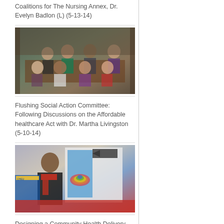Coalitions for The Nursing Annex, Dr. Evelyn Badlon (L) (5-13-14)
[Figure (photo): Group photo of people seated and standing around a conference table in a wood-paneled room]
Flushing Social Action Committee: Following Discussions on the Affordable healthcare Act with Dr. Martha Livingston (5-10-14)
[Figure (photo): Person standing in front of a display board at a community health conference, with CHEU signage visible]
Designing a Community Health Delivery